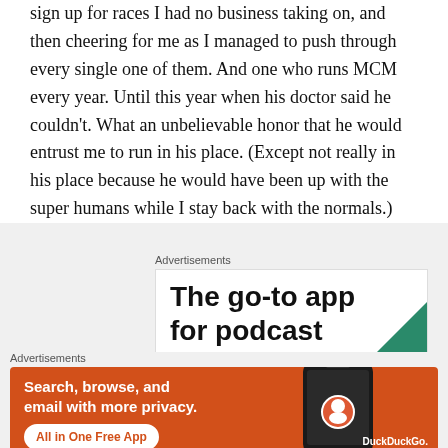sign up for races I had no business taking on, and then cheering for me as I managed to push through every single one of them. And one who runs MCM every year. Until this year when his doctor said he couldn't. What an unbelievable honor that he would entrust me to run in his place. (Except not really in his place because he would have been up with the super humans while I stay back with the normals.)
Advertisements
[Figure (other): Advertisement banner: 'The go-to app for podcast' with a green triangle graphic element]
Advertisements
[Figure (other): DuckDuckGo advertisement on orange background. Text: 'Search, browse, and email with more privacy.' Button: 'All in One Free App'. Shows a phone with DuckDuckGo logo.]